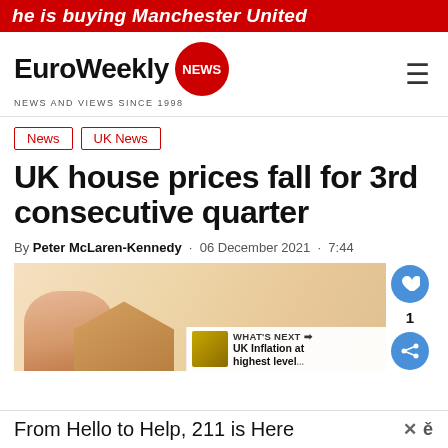he is buying Manchester United
[Figure (logo): EuroWeekly NEWS logo with red circle badge]
News | UK News
UK house prices fall for 3rd consecutive quarter
By Peter McLaren-Kennedy · 06 December 2021 · 7:44
[Figure (photo): Hand holding a miniature house model, beige background]
WHAT'S NEXT → UK Inflation at highest level...
From Hello to Help, 211 is Here